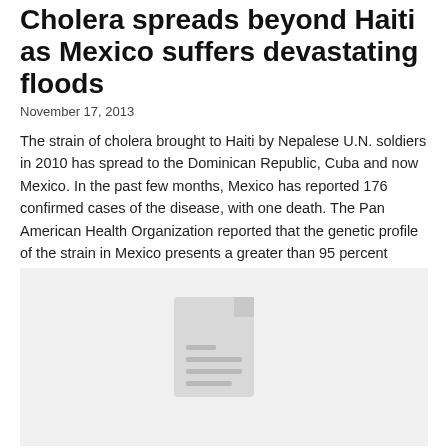Cholera spreads beyond Haiti as Mexico suffers devastating floods
November 17, 2013
The strain of cholera brought to Haiti by Nepalese U.N. soldiers in 2010 has spread to the Dominican Republic, Cuba and now Mexico. In the past few months, Mexico has reported 176 confirmed cases of the disease, with one death. The Pan American Health Organization reported that the genetic profile of the strain in Mexico presents a greater than 95 percent match with the Haitian strain.
[Figure (other): Placeholder image with a document/file icon on a gray background]